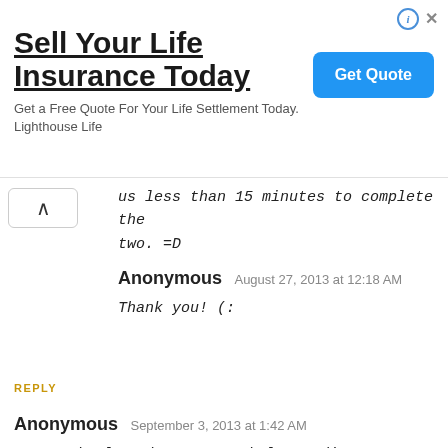[Figure (other): Advertisement banner: Sell Your Life Insurance Today with Get Quote button]
us less than 15 minutes to complete the two. =D
Anonymous  August 27, 2013 at 12:18 AM
Thank you! (:
REPLY
Anonymous  September 3, 2013 at 1:42 AM
Tanong ko lang kung may nakalagay din na Location Code for Calapan, Oriental Mindoro? Pwede ba ang online application kahit sa anong outlet pumunta kahit sa Provincial District pwede ang Online Application? Thanks :)